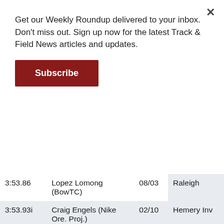Get our Weekly Roundup delivered to your inbox. Don't miss out. Sign up now for the latest Track & Field News articles and updates.
Subscribe
| Time | Athlete | Date | Venue |
| --- | --- | --- | --- |
| 3:53.86 | Lopez Lomong (BowTC) | 08/03 | Raleigh |
| 3:53.93i | Craig Engels (Nike Ore. Proj.) | 02/10 | Hemery Inv |
| 3:54.53 | Johnny Gregorek (Asics) | 08/03 | Raleigh |
| 3:54.64 | -Sam Prakel (Or) | 08/03 | Raleigh |
| 3:54.66 | Pat Casey (Under Armour) | 08/03 | Raleigh |
| 3:54.77i | Ben Blankenship | 02/03 | Millrose G |